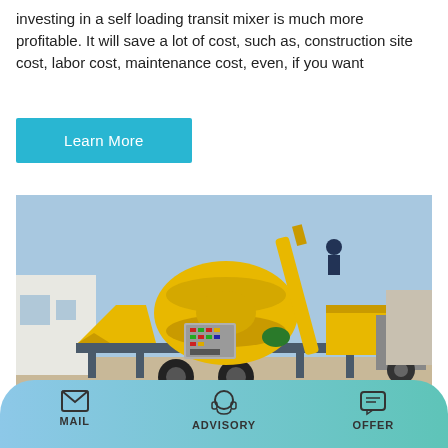investing in a self loading transit mixer is much more profitable. It will save a lot of cost, such as, construction site cost, labor cost, maintenance cost, even, if you want
Learn More
[Figure (photo): Yellow concrete mixer pump machine on a trailer/frame with wheels, control panel, mixing drum, and conveyor/elevator, parked outdoors on a paved surface.]
Delta Group - Telehandlers For
MAIL   ADVISORY   OFFER